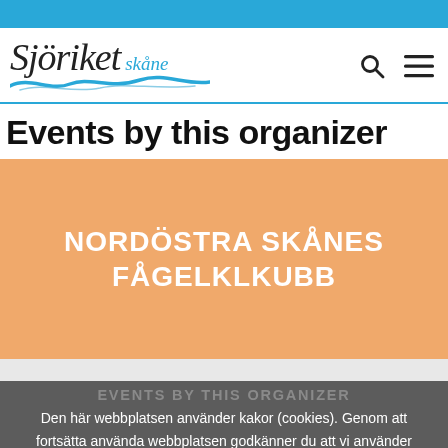[Figure (logo): Sjöriket Skåne logo with stylized cursive text and blue wave illustration, plus search and hamburger menu icons]
Events by this organizer
NORDÖSTRA SKÅNES FÅGELKLKUBB
EVENTS BY THIS ORGANIZER
Den här webbplatsen använder kakor (cookies). Genom att fortsätta använda webbplatsen godkänner du att vi använder cookies.